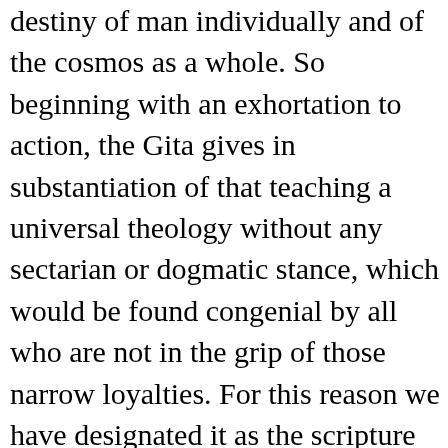destiny of man individually and of the cosmos as a whole. So beginning with an exhortation to action, the Gita gives in substantiation of that teaching a universal theology without any sectarian or dogmatic stance, which would be found congenial by all who are not in the grip of those narrow loyalties. For this reason we have designated it as the scripture of mankind.